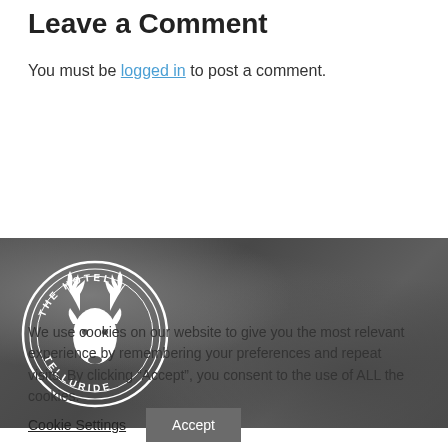Leave a Comment
You must be logged in to post a comment.
[Figure (logo): The Hotel Telluride circular logo with deer/elk head illustration in white on dark stone texture background]
We use cookies on our website to give you the most relevant experience by remembering your preferences and repeat visits. By clicking “Accept”, you consent to the use of ALL the cookies.
Cookie Settings   Accept